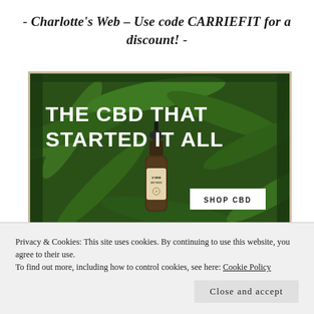- Charlotte's Web – Use code CARRIEFIT for a discount! -
[Figure (photo): Charlotte's Web CBD advertisement showing a dark amber dropper bottle against lush green hemp leaves. White bold text reads 'THE CBD THAT STARTED IT ALL'. A white button says 'SHOP CBD'. Bottom bar shows 'CHARLOTTE'S WEB', 'S WEB BROTHERS', and 'ORIGINAL'.]
Privacy & Cookies: This site uses cookies. By continuing to use this website, you agree to their use.
To find out more, including how to control cookies, see here: Cookie Policy
Close and accept
- discount -